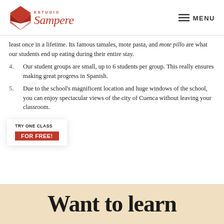[Figure (logo): Estudio Sampere logo with red diamond shape and italic red text]
MENU
least once in a lifetime. Its famous tamales, mote pasta, and mote pillo are what our students end up eating during their entire stay.
4. Our student groups are small, up to 6 students per group. This really ensures making great progress in Spanish.
5. Due to the school's magnificent location and huge windows of the school, you can enjoy spectacular views of the city of Cuenca without leaving your classroom.
TRY ONE CLASS FOR FREE!
Want to learn